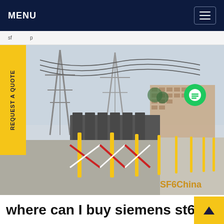MENU
sf...p
[Figure (photo): Electrical substation with high-voltage transmission towers, transformer equipment, yellow bollards, and red-and-white expandable barrier fence along a gravel area. SF6China watermark visible at bottom right.]
REQUEST A QUOTE
where can I buy siemens st6